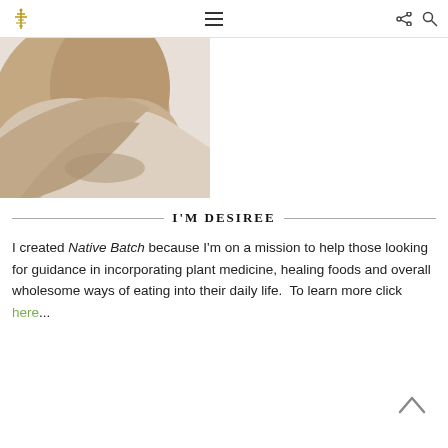Native Batch — navigation header with logo, menu, share, search icons
[Figure (photo): Partial photo of a person wearing a white t-shirt, showing arm and shoulder area, cropped circular/organic shape against white background]
I'M DESIREE
I created Native Batch because I'm on a mission to help those looking for guidance in incorporating plant medicine, healing foods and overall wholesome ways of eating into their daily life.  To learn more click here...